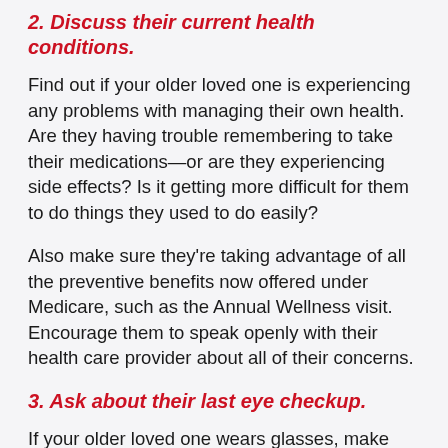2. Discuss their current health conditions.
Find out if your older loved one is experiencing any problems with managing their own health. Are they having trouble remembering to take their medications—or are they experiencing side effects? Is it getting more difficult for them to do things they used to do easily?
Also make sure they're taking advantage of all the preventive benefits now offered under Medicare, such as the Annual Wellness visit. Encourage them to speak openly with their health care provider about all of their concerns.
3. Ask about their last eye checkup.
If your older loved one wears glasses, make sure